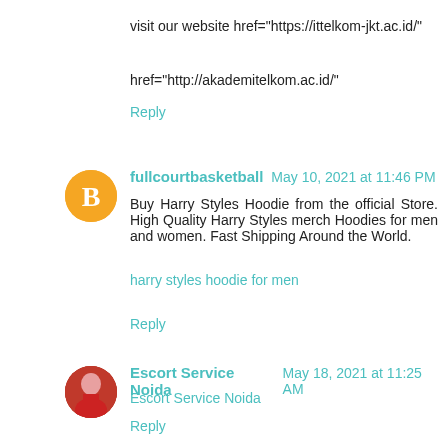visit our website href="https://ittelkom-jkt.ac.id/"
href="http://akademitelkom.ac.id/"
Reply
fullcourtbasketball  May 10, 2021 at 11:46 PM
Buy Harry Styles Hoodie from the official Store. High Quality Harry Styles merch Hoodies for men and women. Fast Shipping Around the World.
harry styles hoodie for men
Reply
Escort Service Noida  May 18, 2021 at 11:25 AM
Escort Service Noida
Reply